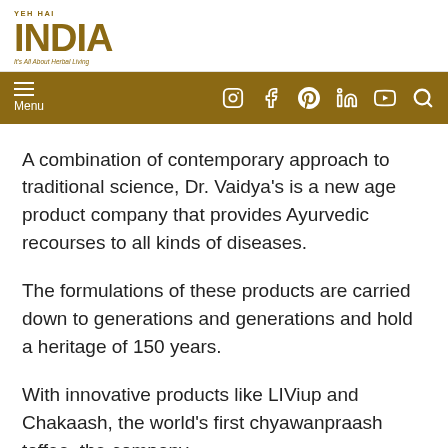YEH HAI INDIA — It's All About Herbal Living
A combination of contemporary approach to traditional science, Dr. Vaidya's is a new age product company that provides Ayurvedic recourses to all kinds of diseases.
The formulations of these products are carried down to generations and generations and hold a heritage of 150 years.
With innovative products like LIViup and Chakaash, the world's first chyawanpraash toffee, the company